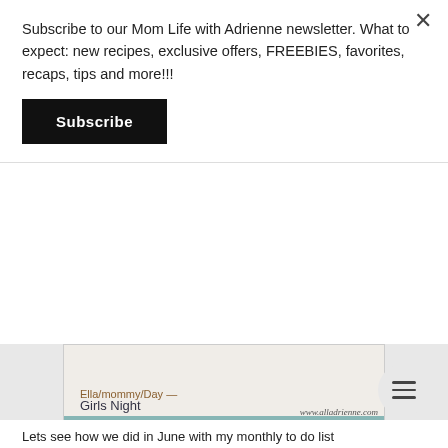Subscribe to our Mom Life with Adrienne newsletter. What to expect: new recipes, exclusive offers, FREEBIES, favorites, recaps, tips and more!!!
Subscribe
[Figure (photo): Photo showing handwritten text 'Ella/mommy/Day - Girls Night' with watermark www.alladrienne.com]
Lets see how we did in June with my monthly to do list
Read-
Book Club Book
1 Personal Development book
1 Fun Book
1 Mommy Book
House To Do-
Go through Ella's school paper work
Finish Garden